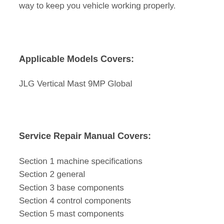way to keep you vehicle working properly.
Applicable Models Covers:
JLG Vertical Mast 9MP Global
Service Repair Manual Covers:
Section 1 machine specifications
Section 2 general
Section 3 base components
Section 4 control components
Section 5 mast components